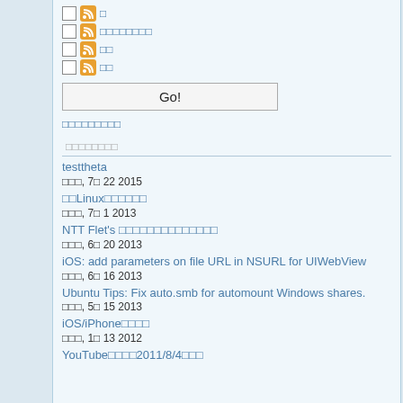□ [RSS] □
□ [RSS] □□□□□□□□
□ [RSS] □□
□ [RSS] □□
Go!
□□□□□□□□□
□□□□□□□□
testtheta
□□□, 7□ 22 2015
□□Linux□□□□□□
□□□, 7□ 1 2013
NTT Flet's □□□□□□□□□□□□□□
□□□, 6□ 20 2013
iOS: add parameters on file URL in NSURL for UIWebView
□□□, 6□ 16 2013
Ubuntu Tips: Fix auto.smb for automount Windows shares.
□□□, 5□ 15 2013
iOS/iPhone□□□□
□□□, 1□ 13 2012
YouTube□□□□2011/8/4□□□